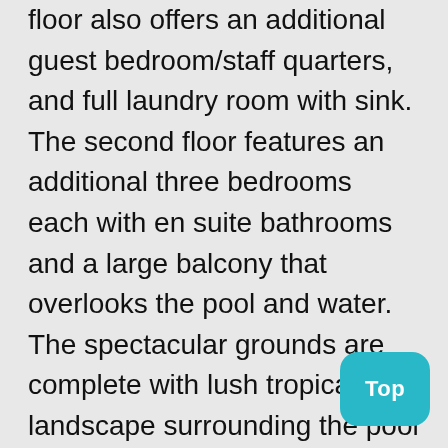floor also offers an additional guest bedroom/staff quarters, and full laundry room with sink. The second floor features an additional three bedrooms each with en suite bathrooms and a large balcony that overlooks the pool and water. The spectacular grounds are complete with lush tropical landscape surrounding the pool and spa with cabana bath. Boating enthusiasts will appreciate the incredible dockage with power and water for large watercraft with easy ocean access nearby via the Boca Raton inlet. Other features include impact doors and windows throughout, security system, central vac and large three car garage. An incredible location on a private Bel Air Isle is one of the